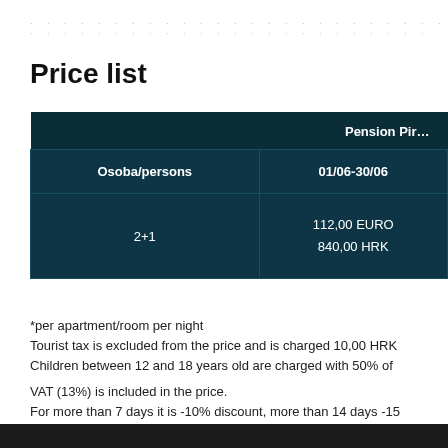· · · · · · · · · · · · · · · · · · · · · · · · · · · · · · · · · · · · · · · · · · · · · · ·
Price list
| Osoba/persons | 01/06-30/06 |
| --- | --- |
| 2+1 | 112,00 EURO
840,00 HRK |
*per apartment/room per night
Tourist tax is excluded from the price and is charged 10,00 HRK
Children between 12 and 18 years old are charged with 50% of
VAT (13%) is included in the price.
For more than 7 days it is -10% discount, more than 14 days -15